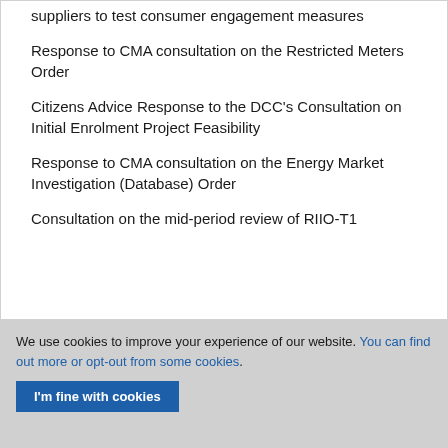suppliers to test consumer engagement measures
Response to CMA consultation on the Restricted Meters Order
Citizens Advice Response to the DCC's Consultation on Initial Enrolment Project Feasibility
Response to CMA consultation on the Energy Market Investigation (Database) Order
Consultation on the mid-period review of RIIO-T1
We use cookies to improve your experience of our website. You can find out more or opt-out from some cookies.